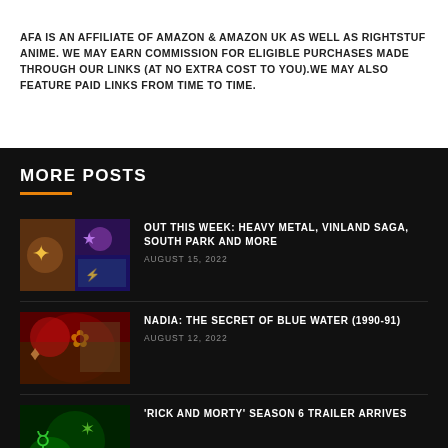AFA IS AN AFFILIATE OF AMAZON & AMAZON UK AS WELL AS RIGHTSTUF ANIME. WE MAY EARN COMMISSION FOR ELIGIBLE PURCHASES MADE THROUGH OUR LINKS (AT NO EXTRA COST TO YOU).WE MAY ALSO FEATURE PAID LINKS FROM TIME TO TIME.
MORE POSTS
OUT THIS WEEK: HEAVY METAL, VINLAND SAGA, SOUTH PARK AND MORE | AUGUST 15, 2022
NADIA: THE SECRET OF BLUE WATER (1990-91) | AUGUST 12, 2022
'RICK AND MORTY' SEASON 6 TRAILER ARRIVES